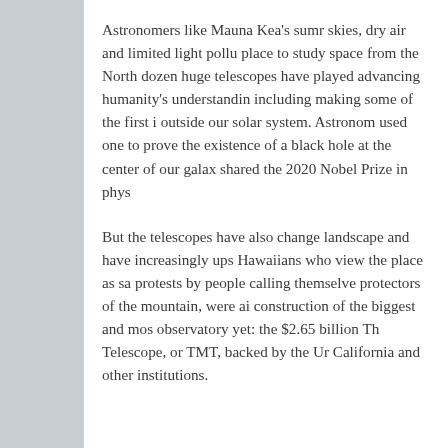Astronomers like Mauna Kea's sumr skies, dry air and limited light pollu place to study space from the North dozen huge telescopes have played advancing humanity's understandin including making some of the first i outside our solar system. Astronom used one to prove the existence of a black hole at the center of our galax shared the 2020 Nobel Prize in phys
But the telescopes have also change landscape and have increasingly ups Hawaiians who view the place as sa protests by people calling themselve protectors of the mountain, were ai construction of the biggest and mos observatory yet: the $2.65 billion Th Telescope, or TMT, backed by the Ur California and other institutions.